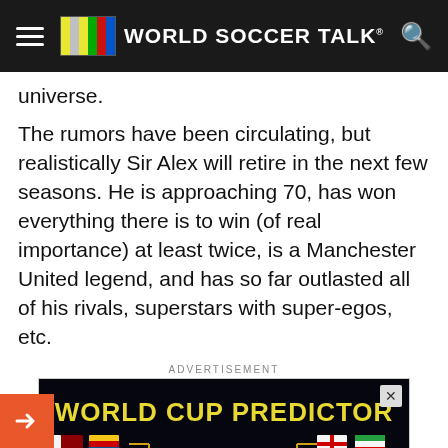WORLD SOCCER TALK
universe.
The rumors have been circulating, but realistically Sir Alex will retire in the next few seasons.  He is approaching 70, has won everything there is to win (of real importance) at least twice, is  a Manchester United legend, and has so far outlasted all of his rivals, superstars with super-egos, etc.
ADVERTISEMENT
[Figure (screenshot): World Cup Predictor advertisement banner showing a bracket tournament graphic with country flags including Qatar, Venezuela, Senegal, Netherlands, Argentina, Saudi Arabia, Mexico, Poland, England, Iran, USA, Wales, France, Australia, Denmark, Tunisia, Spain, Costa Rica, Belgium, Canada on a dark city skyline background.]